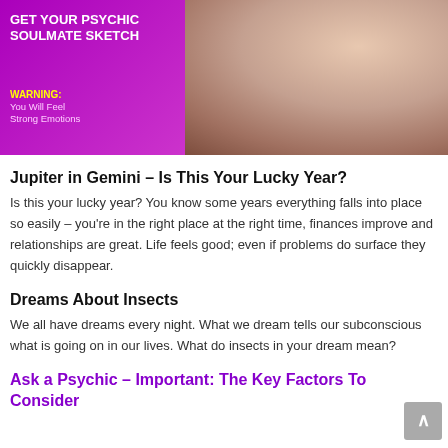[Figure (advertisement): Purple and pink advertisement banner reading 'GET YOUR PSYCHIC SOULMATE SKETCH' with a warning text 'You Will Feel Strong Emotions' and a photo of a woman on the right side]
Jupiter in Gemini – Is This Your Lucky Year?
Is this your lucky year? You know some years everything falls into place so easily – you're in the right place at the right time, finances improve and relationships are great. Life feels good; even if problems do surface they quickly disappear.
Dreams About Insects
We all have dreams every night. What we dream tells our subconscious what is going on in our lives. What do insects in your dream mean?
Ask a Psychic – Important: The Key Factors To Consider